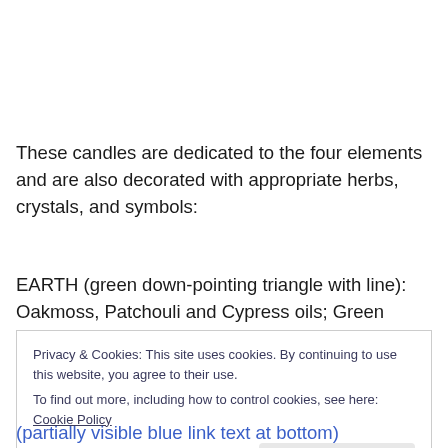These candles are dedicated to the four elements and are also decorated with appropriate herbs, crystals, and symbols:
EARTH (green down-pointing triangle with line): Oakmoss, Patchouli and Cypress oils; Green Calcite stone; Mugwort
Privacy & Cookies: This site uses cookies. By continuing to use this website, you agree to their use.
To find out more, including how to control cookies, see here: Cookie Policy
Close and accept
(partially visible bottom text in blue)